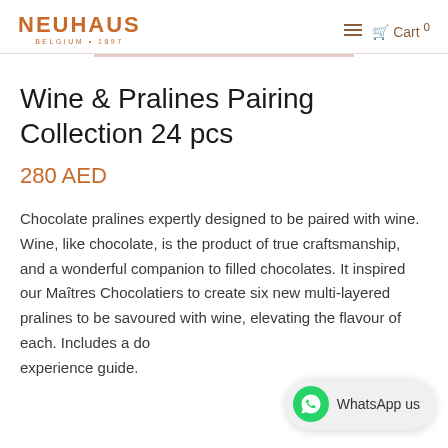NEUHAUS BELGIUM • 1897 — Cart 0
Wine & Pralines Pairing Collection 24 pcs
280 AED
Chocolate pralines expertly designed to be paired with wine. Wine, like chocolate, is the product of true craftsmanship, and a wonderful companion to filled chocolates. It inspired our Maîtres Chocolatiers to create six new multi-layered pralines to be savoured with wine, elevating the flavour of each. Includes a do... experience guide.